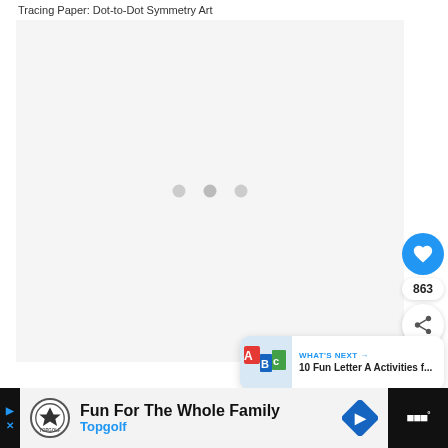Tracing Paper: Dot-to-Dot Symmetry Art
[Figure (other): Large light gray content area with three gray loading dots in the center, indicating an image/slideshow placeholder. Heart/like button (blue circle, 863 likes), share button, and What's Next card overlay on the right side.]
WHAT'S NEXT → 10 Fun Letter A Activities f...
[Figure (infographic): Advertisement bar at the bottom: dark left strip with play/close icons, main ad area with Topgolf logo, text 'Fun For The Whole Family' and 'Topgolf', a blue diamond navigation icon, and a dark right strip with 'W' logo.]